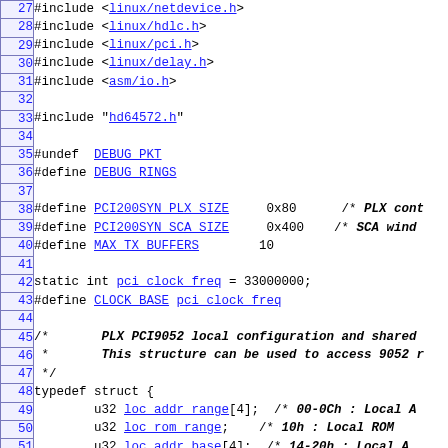Source code listing lines 27-56, C header file with #include directives, #define macros, and typedef struct for PLX PCI9052 local configuration.